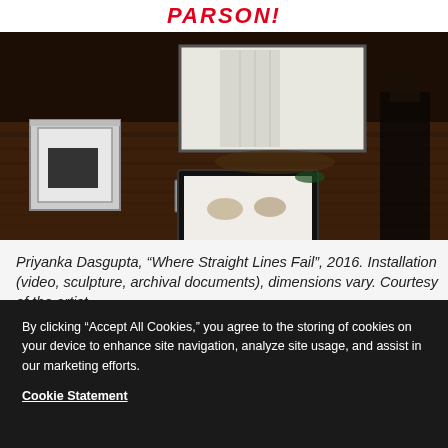PARSONS
[Figure (photo): Art installation view showing multiple display screens and sculptural objects arranged on a wooden floor in a darkened gallery space. A large illuminated screen is visible in the background, with smaller framed boxes and monitors in the foreground.]
Priyanka Dasgupta, “Where Straight Lines Fail”, 2016. Installation (video, sculpture, archival documents), dimensions vary. Courtesy of the artist
By clicking “Accept All Cookies,” you agree to the storing of cookies on your device to enhance site navigation, analyze site usage, and assist in our marketing efforts.
Cookie Statement